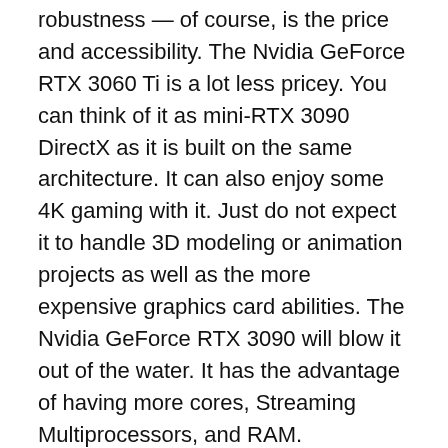robustness — of course, is the price and accessibility. The Nvidia GeForce RTX 3060 Ti is a lot less pricey. You can think of it as mini-RTX 3090 DirectX as it is built on the same architecture. It can also enjoy some 4K gaming with it. Just do not expect it to handle 3D modeling or animation projects as well as the more expensive graphics card abilities. The Nvidia GeForce RTX 3090 will blow it out of the water. It has the advantage of having more cores, Streaming Multiprocessors, and RAM.
Similarities Between These Two Graphics Cards
The Nvidia GeForce RTX 3090 Direct...